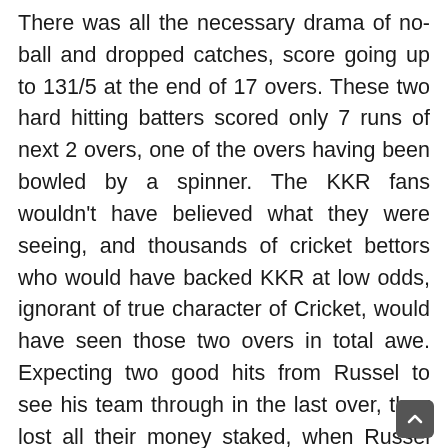There was all the necessary drama of no-ball and dropped catches, score going up to 131/5 at the end of 17 overs. These two hard hitting batters scored only 7 runs of next 2 overs, one of the overs having been bowled by a spinner. The KKR fans wouldn't have believed what they were seeing, and thousands of cricket bettors who would have backed KKR at low odds, ignorant of true character of Cricket, would have seen those two overs in total awe. Expecting two good hits from Russel to see his team through in the last over, they lost all their money staked, when Russel continued to bat contrary to his talent and character. KKR lost further 2 wickets and scored only 4 runs, to lose by a substantial margin of 10 runs. Many other bets, like for Tied match etc. were taken